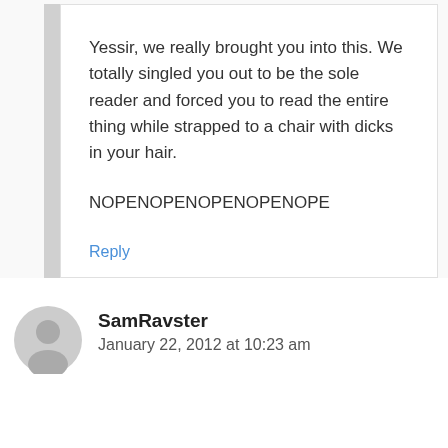Yessir, we really brought you into this. We totally singled you out to be the sole reader and forced you to read the entire thing while strapped to a chair with dicks in your hair.
NOPENOPENOPENOPENOPE
Reply
SamRavster
January 22, 2012 at 10:23 am